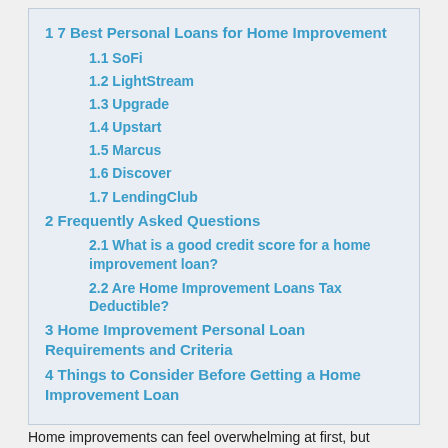1 7 Best Personal Loans for Home Improvement
1.1 SoFi
1.2 LightStream
1.3 Upgrade
1.4 Upstart
1.5 Marcus
1.6 Discover
1.7 LendingClub
2 Frequently Asked Questions
2.1 What is a good credit score for a home improvement loan?
2.2 Are Home Improvement Loans Tax Deductible?
3 Home Improvement Personal Loan Requirements and Criteria
4 Things to Consider Before Getting a Home Improvement Loan
Home improvements can feel overwhelming at first, but